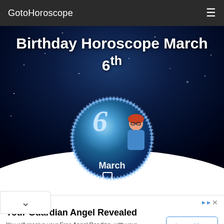GotoHoroscope
Birthday Horoscope March 6th
[Figure (illustration): Circular horoscope illustration showing the number 6 and word March with a woman with red hair and glasses, set against a blue starry night sky background with a white curved horizon]
Your Guardian Angel Revealed
You will receive your Free Angel Reading, with your Guardian Angel's 30 days Predictions Celeste Angelic Medium
Learn More